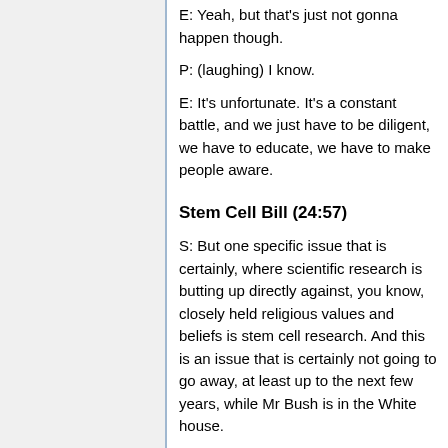E: Yeah, but that's just not gonna happen though.
P: (laughing) I know.
E: It's unfortunate. It's a constant battle, and we just have to be diligent, we have to educate, we have to make people aware.
Stem Cell Bill (24:57)
S: But one specific issue that is certainly, where scientific research is butting up directly against, you know, closely held religious values and beliefs is stem cell research. And this is an issue that is certainly not going to go away, at least up to the next few years, while Mr Bush is in the White house.
P: Yeah, you know, it's a very contentious issue because it calls in that